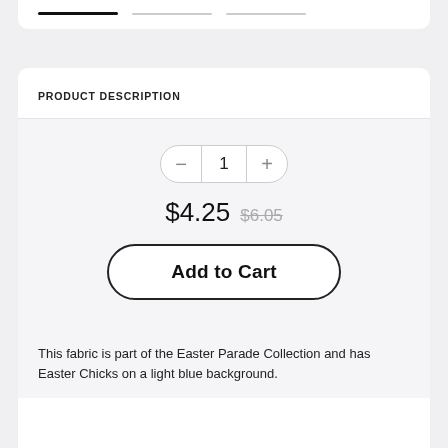PRODUCT DESCRIPTION
$4.25  $6.05
Add to Cart
This fabric is part of the Easter Parade Collection and has Easter Chicks on a light blue background.